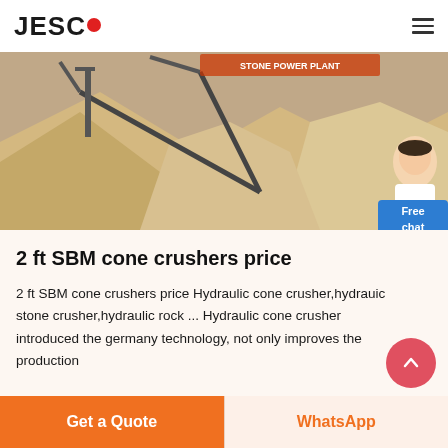JESCO
[Figure (photo): Aerial/wide-angle photograph of a quarry or stone crushing plant with large piles of sand/gravel and conveyor belt structures in the background. A female chat assistant figure appears at the right edge.]
2 ft SBM cone crushers price
2 ft SBM cone crushers price Hydraulic cone crusher,hydrauic stone crusher,hydraulic rock ... Hydraulic cone crusher introduced the germany technology, not only improves the production
Get a Quote | WhatsApp